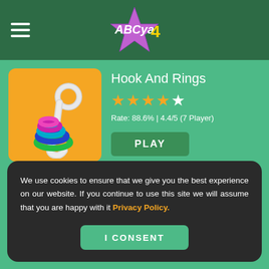ABCya 4
Hook And Rings
Rate: 88.6% | 4.4/5 (7 Player)
[Figure (illustration): Hook and rings game icon showing a silver hook with colorful rings (purple, blue, pink, green) on an orange background]
PLAY
We use cookies to ensure that we give you the best experience on our website. If you continue to use this site we will assume that you are happy with it Privacy Policy.
I CONSENT